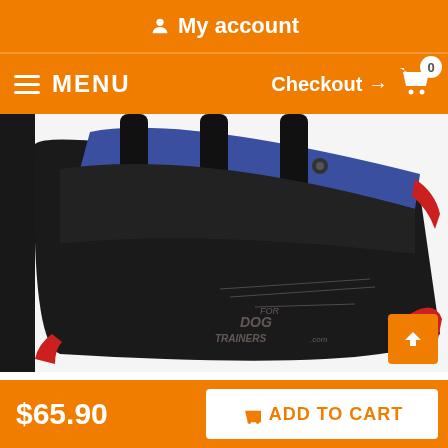My account
MENU  Checkout → 0
[Figure (photo): Close-up photo of a French Linen Bite Builder for Puppies — a black padded sleeve with blue top fabric and red trim, showing 3 handle straps. Watermark text reads: FOR DOG TRAINERS.com]
French Linen Bite Builder for Puppies
Also, it is equipped with 3 durable handles that are padded. T
$65.90   ADD TO CART